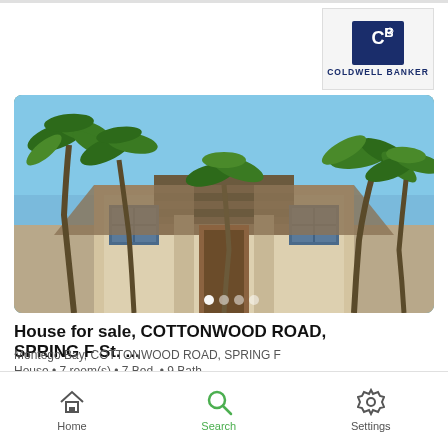[Figure (logo): Coldwell Banker logo with CB monogram icon and text COLDWELL BANKER]
[Figure (photo): Exterior photo of a tropical house with palm trees, beige stucco facade, and thatched-roof structure, with image carousel dots at the bottom]
House for sale, COTTONWOOD ROAD, SPRING F St. ...
Montego Bay, COTTONWOOD ROAD, SPRING F
House • 7 room(s) • 7 Bed. • 9 Bath.
IDR 40,977,214,132
Home  Search  Settings